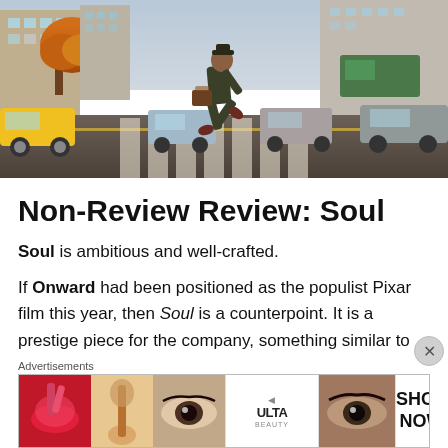[Figure (photo): Animated character from Pixar's Soul film, walking across a crosswalk in a New York City street scene with autumn trees and city traffic]
Non-Review Review: Soul
Soul is ambitious and well-crafted.
If Onward had been positioned as the populist Pixar film this year, then Soul is a counterpoint. It is a prestige piece for the company, something similar to Inside Out or Wall-
Advertisements
[Figure (photo): Ulta Beauty advertisement banner showing makeup and cosmetics close-ups with SHOP NOW call to action]